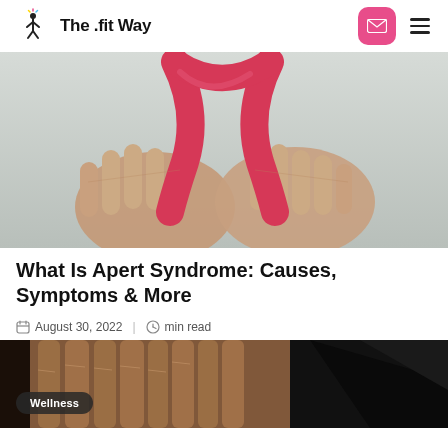The .fit Way
[Figure (photo): Close-up of two hands holding a red/pink ribbon awareness symbol against a light background.]
What Is Apert Syndrome: Causes, Symptoms & More
August 30, 2022 | min read
[Figure (photo): Close-up macro photo of fused or syndactyly fingers, with a 'Wellness' tag overlay in the bottom left.]